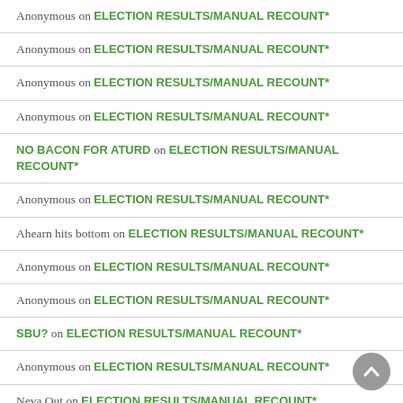Anonymous on ELECTION RESULTS/MANUAL RECOUNT*
Anonymous on ELECTION RESULTS/MANUAL RECOUNT*
Anonymous on ELECTION RESULTS/MANUAL RECOUNT*
Anonymous on ELECTION RESULTS/MANUAL RECOUNT*
NO BACON FOR ATURD on ELECTION RESULTS/MANUAL RECOUNT*
Anonymous on ELECTION RESULTS/MANUAL RECOUNT*
Ahearn hits bottom on ELECTION RESULTS/MANUAL RECOUNT*
Anonymous on ELECTION RESULTS/MANUAL RECOUNT*
Anonymous on ELECTION RESULTS/MANUAL RECOUNT*
SBU? on ELECTION RESULTS/MANUAL RECOUNT*
Anonymous on ELECTION RESULTS/MANUAL RECOUNT*
Neva Out on ELECTION RESULTS/MANUAL RECOUNT*